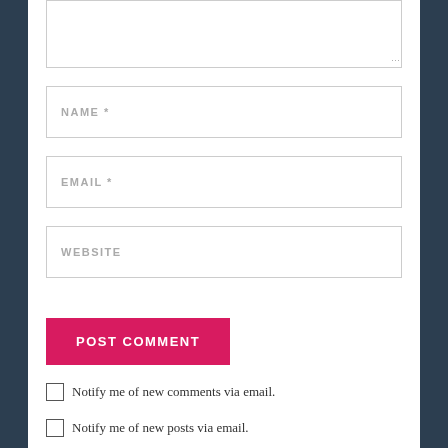[Figure (screenshot): Comment form textarea (top portion visible, resizable)]
NAME *
EMAIL *
WEBSITE
POST COMMENT
Notify me of new comments via email.
Notify me of new posts via email.